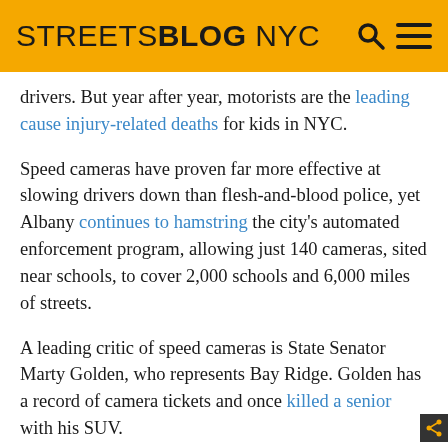STREETSBLOG NYC
drivers. But year after year, motorists are the leading cause injury-related deaths for kids in NYC.
Speed cameras have proven far more effective at slowing drivers down than flesh-and-blood police, yet Albany continues to hamstring the city's automated enforcement program, allowing just 140 cameras, sited near schools, to cover 2,000 schools and 6,000 miles of streets.
A leading critic of speed cameras is State Senator Marty Golden, who represents Bay Ridge. Golden has a record of camera tickets and once killed a senior with his SUV.
On Sunday, Transportation Alternatives and Bay